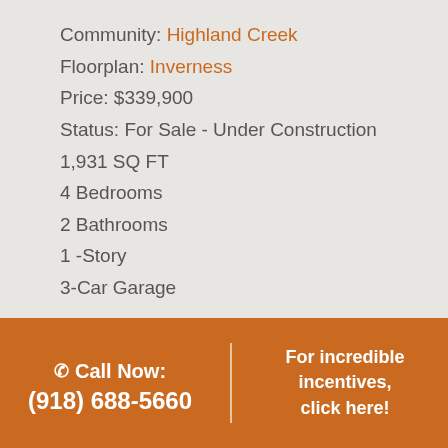Community: Highland Creek
Floorplan: Inverness
Price: $339,900
Status: For Sale - Under Construction
1,931 SQ FT
4 Bedrooms
2 Bathrooms
1 -Story
3-Car Garage
Broken Arrow School District
Call Now: (918) 688-5660
For incredible incentives, click here!